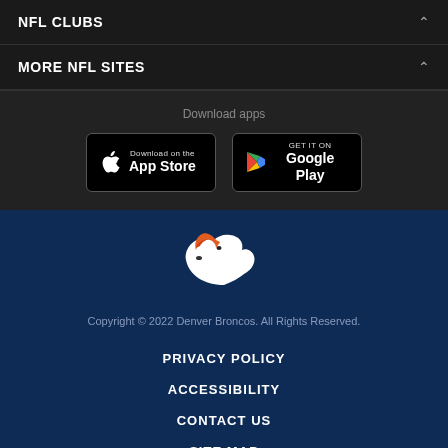NFL CLUBS
MORE NFL SITES
Download apps
[Figure (logo): Download on the App Store button]
[Figure (logo): Get it on Google Play button]
[Figure (logo): Denver Broncos logo — white horse with orange mane]
Copyright © 2022 Denver Broncos. All Rights Reserved.
PRIVACY POLICY
ACCESSIBILITY
CONTACT US
SITE MAP